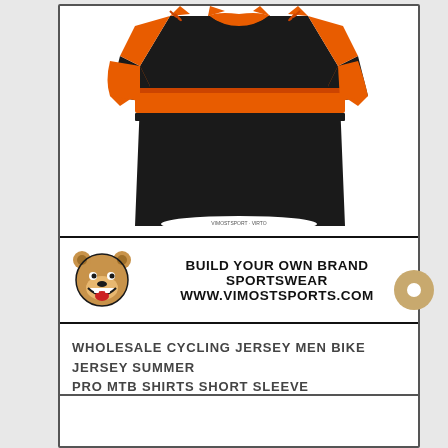[Figure (photo): Black and orange cycling jersey with short sleeves, displayed on a white background. The jersey features bold orange stripe patterns on the upper chest and sleeves against a black body.]
[Figure (logo): Vimost Sports bear logo - cartoon bear head with open mouth, brown/tan colors with black outline]
BUILD YOUR OWN BRAND SPORTSWEAR
WWW.VIMOSTSPORTS.COM
WHOLESALE CYCLING JERSEY MEN BIKE JERSEY SUMMER PRO MTB SHIRTS SHORT SLEEVE